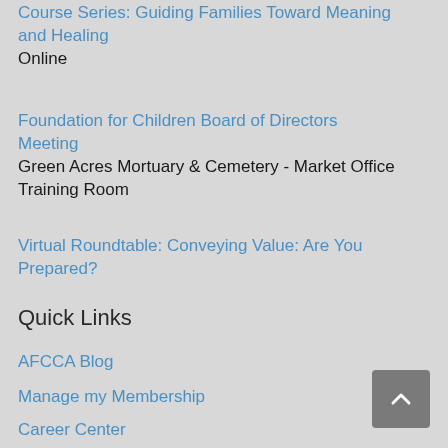Course Series: Guiding Families Toward Meaning and Healing
Online
Foundation for Children Board of Directors Meeting
Green Acres Mortuary & Cemetery - Market Office Training Room
Virtual Roundtable: Conveying Value: Are You Prepared?
Quick Links
AFCCA Blog
Manage my Membership
Career Center